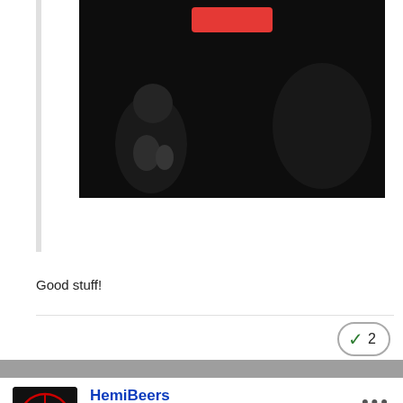[Figure (screenshot): Dark, shadowy image (video thumbnail/screenshot) with a red button overlay at top center]
Good stuff!
✓ 2
HemiBeers
Posted October 31, 2018
On 10/30/2018 at 6:25 AM, PariahDog said:
Hey, just wanted to share some new YouTube videos from Phineas